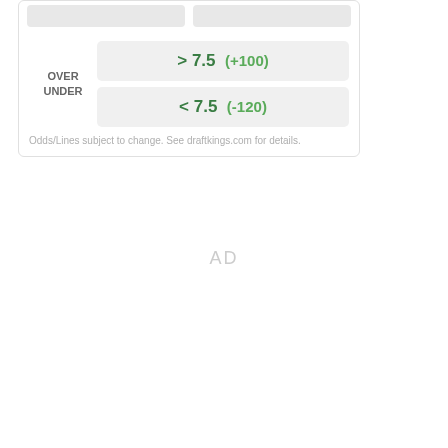OVER
UNDER
> 7.5  (+100)
< 7.5  (-120)
Odds/Lines subject to change. See draftkings.com for details.
AD